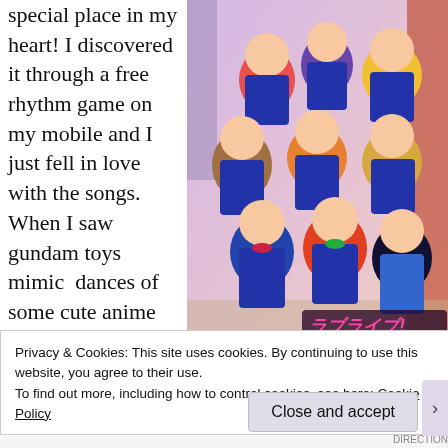special place in my heart! I discovered it through a free rhythm game on my mobile and I just fell in love with the songs. When I saw gundam toys mimic dances of some cute anime girls I just had to check the show out and it did not
[Figure (illustration): Love Live! School Idol Project anime promotional image showing 9 anime girl characters in school uniforms grouped together, with the Love Live! School Idol Project logo at the bottom right.]
Privacy & Cookies: This site uses cookies. By continuing to use this website, you agree to their use.
To find out more, including how to control cookies, see here: Cookie Policy
Close and accept